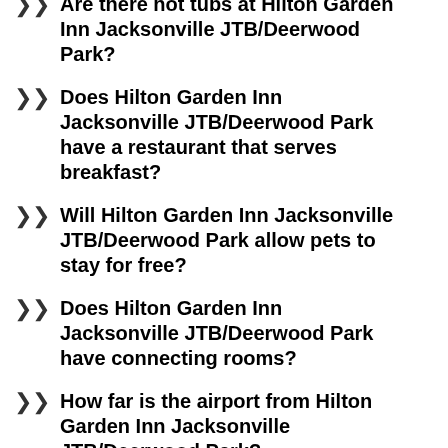Are there hot tubs at Hilton Garden Inn Jacksonville JTB/Deerwood Park?
Does Hilton Garden Inn Jacksonville JTB/Deerwood Park have a restaurant that serves breakfast?
Will Hilton Garden Inn Jacksonville JTB/Deerwood Park allow pets to stay for free?
Does Hilton Garden Inn Jacksonville JTB/Deerwood Park have connecting rooms?
How far is the airport from Hilton Garden Inn Jacksonville JTB/Deerwood Park?
Are there rooms with balconies at Hilton Garden Inn Jacksonville JTB/Deerwood Park?